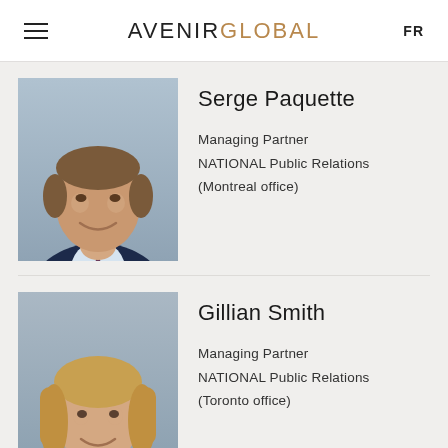AVENIR GLOBAL  FR
[Figure (photo): Professional headshot of Serge Paquette, a middle-aged man in a dark suit and tie, smiling.]
Serge Paquette
Managing Partner
NATIONAL Public Relations
(Montreal office)
[Figure (photo): Professional headshot of Gillian Smith, a blonde woman in a black jacket, smiling.]
Gillian Smith
Managing Partner
NATIONAL Public Relations
(Toronto office)